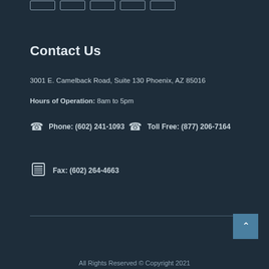[Navigation buttons]
Contact Us
3001 E. Camelback Road, Suite 130 Phoenix, AZ 85016
Hours of Operation: 8am to 5pm
Phone: (602) 241-1093   Toll Free: (877) 206-7164
Fax: (602) 264-4663
All Rights Reserved © Copyright 2021